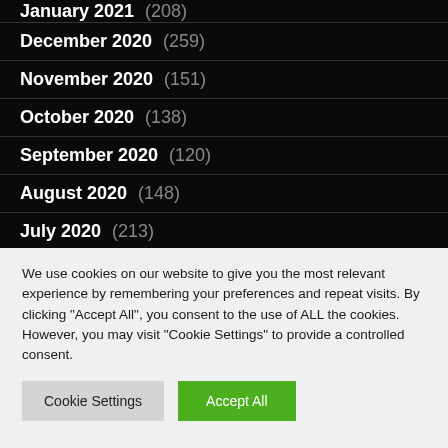January 2021 (208)
December 2020 (259)
November 2020 (151)
October 2020 (138)
September 2020 (120)
August 2020 (148)
July 2020 (213)
June 2020 (256)
We use cookies on our website to give you the most relevant experience by remembering your preferences and repeat visits. By clicking “Accept All”, you consent to the use of ALL the cookies. However, you may visit "Cookie Settings" to provide a controlled consent.
Cookie Settings | Accept All